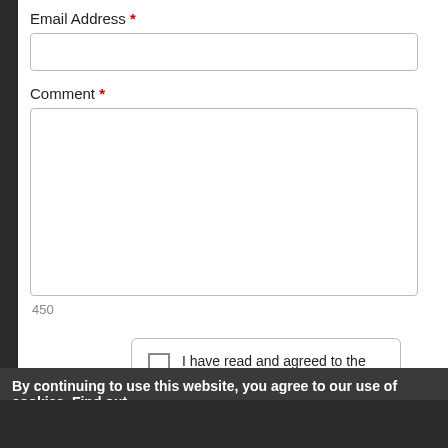Email Address *
Comment *
450
I have read and agreed to the privacy policy and terms & conditions *
Submit Comment
By continuing to use this website, you agree to our use of cookies. Find out more  Dismiss